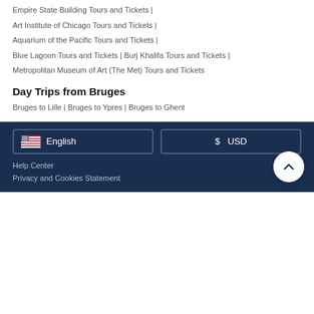Empire State Building Tours and Tickets |
Art Institute of Chicago Tours and Tickets |
Aquarium of the Pacific Tours and Tickets |
Blue Lagoon Tours and Tickets | Burj Khalifa Tours and Tickets |
Metropolitan Museum of Art (The Met) Tours and Tickets
Day Trips from Bruges
Bruges to Lille | Bruges to Ypres | Bruges to Ghent
English  USD  Help Center  Privacy and Cookies Statement